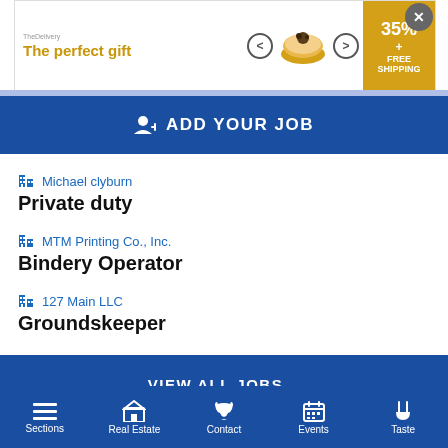[Figure (screenshot): Advertisement banner for 'The perfect gift' showing a bowl product with navigation arrows, 35% discount, and free shipping offer]
ADD YOUR JOB
Michael clyburn
Private duty
MTM Printing Co., Inc.
Bindery Operator
127 Main LLC
Groundskeeper
VIEW ALL JOBS...
Read the Papers
Sections | Real Estate | Contact | Events | Taste